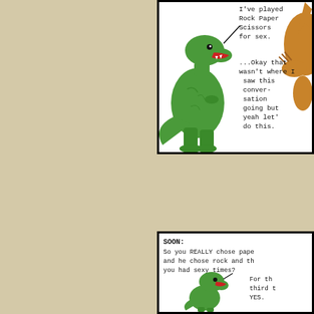[Figure (illustration): Comic panel showing a green T-Rex dinosaur with speech bubble text: 'I've played Rock Paper Scissors for sex.' and '...Okay that wasn't where I saw this conversation going but yeah let's do this.' An orange dinosaur is partially visible on the right edge.]
[Figure (illustration): Comic panel labeled 'SOON:' showing a green T-Rex dinosaur with text: 'So you REALLY chose paper and he chose rock and then you had sexy times?' and T-Rex reply 'For the third time, YES.']